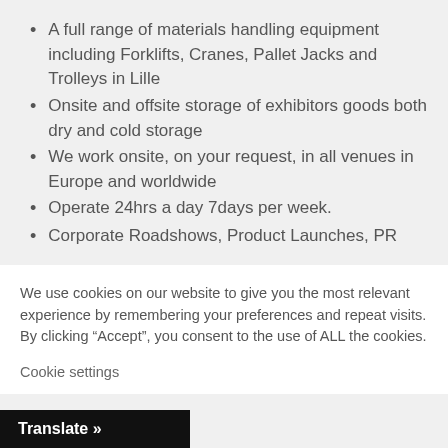A full range of materials handling equipment including Forklifts, Cranes, Pallet Jacks and Trolleys in Lille
Onsite and offsite storage of exhibitors goods both dry and cold storage
We work onsite, on your request, in all venues in Europe and worldwide
Operate 24hrs a day 7days per week.
Corporate Roadshows, Product Launches, PR
We use cookies on our website to give you the most relevant experience by remembering your preferences and repeat visits. By clicking “Accept”, you consent to the use of ALL the cookies.
Cookie settings
Translate »